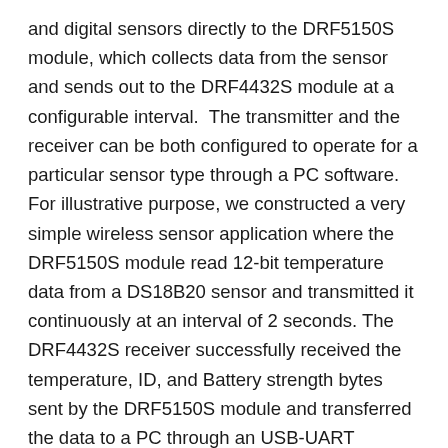and digital sensors directly to the DRF5150S module, which collects data from the sensor and sends out to the DRF4432S module at a configurable interval. The transmitter and the receiver can be both configured to operate for a particular sensor type through a PC software. For illustrative purpose, we constructed a very simple wireless sensor application where the DRF5150S module read 12-bit temperature data from a DS18B20 sensor and transmitted it continuously at an interval of 2 seconds. The DRF4432S receiver successfully received the temperature, ID, and Battery strength bytes sent by the DRF5150S module and transferred the data to a PC through an USB-UART interface. A Processing application was developed to display the received data on computer screen. More features and applications of these two RF modules will be explored in the second part of this tutorial. So stay tuned!
Update: For the list of distributors and sellers of Dorji's products, visit: http://www.dorji.com/contact.html